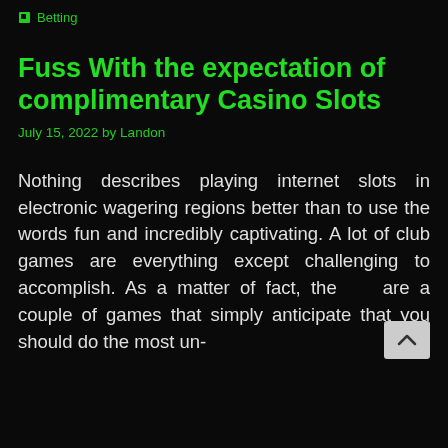Betting
Fuss With the expectation of complimentary Casino Slots
July 15, 2022 by Landon
Nothing describes playing internet slots in electronic wagering regions better than to use the words fun and incredibly captivating. A lot of club games are everything except challenging to accomplish. As a matter of fact, there are a couple of games that simply anticipate that you should do the most un-